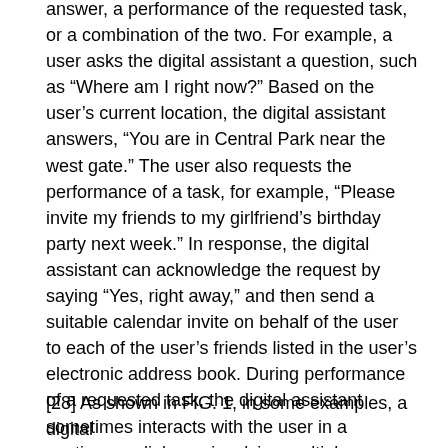answer, a performance of the requested task, or a combination of the two. For example, a user asks the digital assistant a question, such as “Where am I right now?” Based on the user’s current location, the digital assistant answers, “You are in Central Park near the west gate.” The user also requests the performance of a task, for example, “Please invite my friends to my girlfriend’s birthday party next week.” In response, the digital assistant can acknowledge the request by saying “Yes, right away,” and then send a suitable calendar invite on behalf of the user to each of the user’s friends listed in the user’s electronic address book. During performance of a requested task, the digital assistant sometimes interacts with the user in a continuous dialogue involving multiple exchanges of information over an extended period of time. There are numerous other ways of interacting with a digital assistant to request information or performance of various tasks. In addition to providing verbal responses and taking programmed actions, the digital assistant also provides responses in other visual or audio forms, e.g., as text, alerts, music, videos, animations, etc.
[28] As shown in FIG. 1, in some examples, a digital assistant is implemented to allow it to...